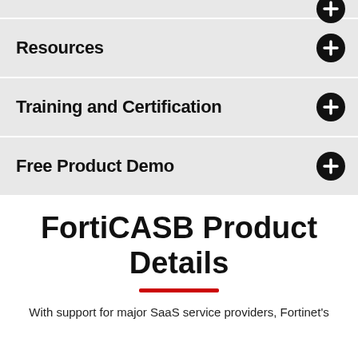Resources
Training and Certification
Free Product Demo
FortiCASB Product Details
With support for major SaaS service providers, Fortinet's